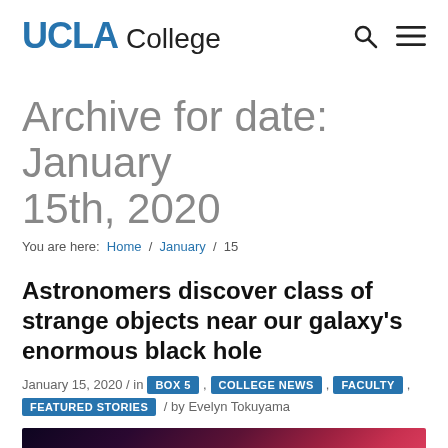UCLA College
Archive for date: January 15th, 2020
You are here: Home / January / 15
Astronomers discover class of strange objects near our galaxy's enormous black hole
January 15, 2020 / in BOX 5 , COLLEGE NEWS , FACULTY , FEATURED STORIES / by Evelyn Tokuyama
[Figure (photo): Partial view of a space/galaxy image showing deep reds and dark space background]